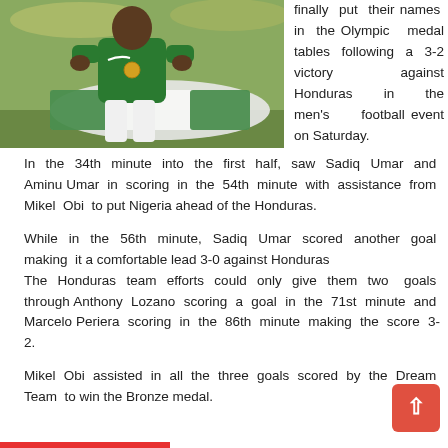[Figure (photo): Nigerian football player wearing green jersey with Nike logo and bronze medal, holding open a green and white Nigerian flag, celebrating at what appears to be the 2016 Rio Olympics.]
finally put their names in the Olympic medal tables following a 3-2 victory against Honduras in the men's football event on Saturday.
In the 34th minute into the first half, saw Sadiq Umar and Aminu Umar in scoring in the 54th minute with assistance from Mikel Obi to put Nigeria ahead of the Honduras.
While in the 56th minute, Sadiq Umar scored another goal making it a comfortable lead 3-0 against Honduras
The Honduras team efforts could only give them two goals through Anthony Lozano scoring a goal in the 71st minute and Marcelo Periera scoring in the 86th minute making the score 3-2.
Mikel Obi assisted in all the three goals scored by the Dream Team to win the Bronze medal.